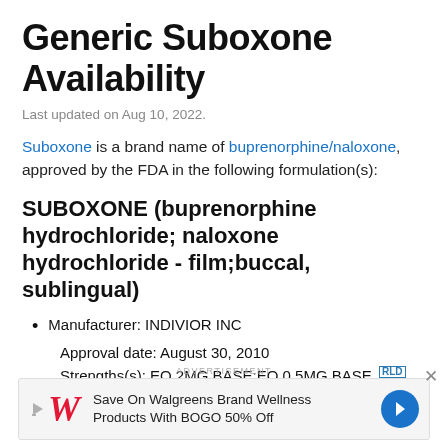Generic Suboxone Availability
Last updated on Aug 10, 2022.
Suboxone is a brand name of buprenorphine/naloxone, approved by the FDA in the following formulation(s):
SUBOXONE (buprenorphine hydrochloride; naloxone hydrochloride - film;buccal, sublingual)
Manufacturer: INDIVIOR INC
Approval date: August 30, 2010
Strengths(s): EQ 2MG BASE;EQ 0.5MG BASE [RLD]
[Figure (infographic): Walgreens advertisement banner: Save On Walgreens Brand Wellness Products With BOGO 50% Off]